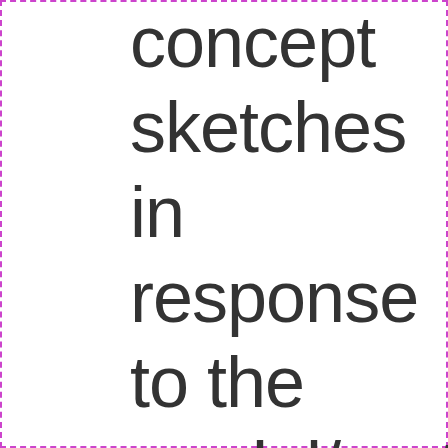concept sketches in response to the model/mat